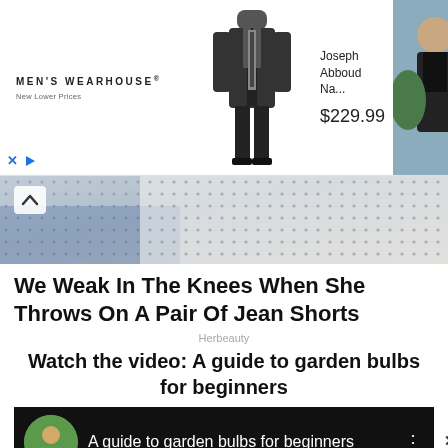[Figure (screenshot): Men's Wearhouse advertisement banner showing suit product (Joseph Abboud Na...) priced at $229.99, with man in suit and couple photo]
[Figure (photo): Partial article image showing fabric/clothing texture with up chevron arrow overlay]
We Weak In The Knees When She Throws On A Pair Of Jean Shorts
Herbeauty
Watch the video: A guide to garden bulbs for beginners
[Figure (screenshot): Video thumbnail bar with dark background, circular avatar of man in garden, text 'A guide to garden bulbs for beginners' with three-dot menu, and close X button]
[Figure (screenshot): Topgolf advertisement showing Ashburn location OPEN 10AM-1AM, 20356 Commonwealth Cent... with navigation arrow icon, play button and X controls]